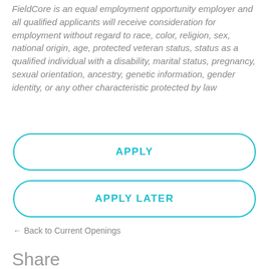FieldCore is an equal employment opportunity employer and all qualified applicants will receive consideration for employment without regard to race, color, religion, sex, national origin, age, protected veteran status, status as a qualified individual with a disability, marital status, pregnancy, sexual orientation, ancestry, genetic information, gender identity, or any other characteristic protected by law
APPLY
APPLY LATER
← Back to Current Openings
Share